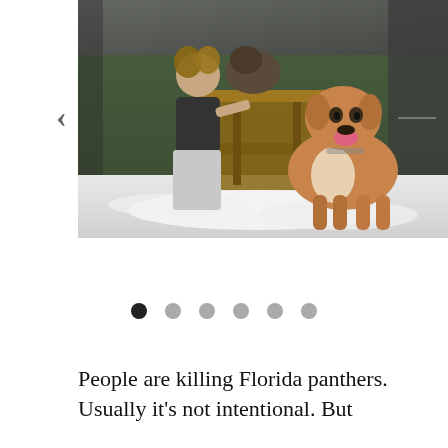[Figure (photo): A woman with curly hair wearing a black top and light gray skirt stands inside a chain-link enclosure next to a wooden structure, posing with two dogs — a brindle dog behind the structure and a brown/white dog sitting in the foreground on a white fluffy material. Green foliage visible in background.]
People are killing Florida panthers. Usually it's not intentional. But